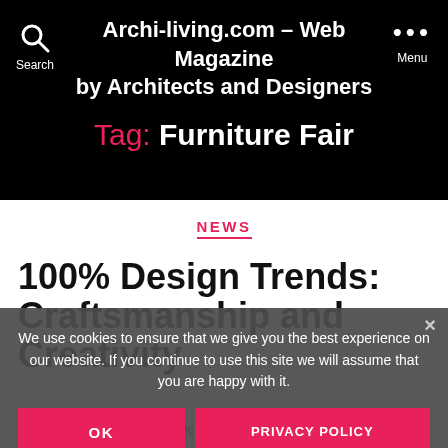Archi-living.com - Web Magazine by Architects and Designers
Tag: Furniture Fair
NEWS
100% Design Trends: Craftsmanship and Creativity
We use cookies to ensure that we give you the best experience on our website. If you continue to use this site we will assume that you are happy with it.
By Danica Maričić   October 11, 2017